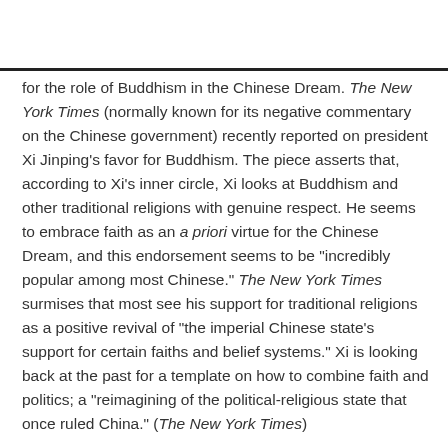for the role of Buddhism in the Chinese Dream. The New York Times (normally known for its negative commentary on the Chinese government) recently reported on president Xi Jinping's favor for Buddhism. The piece asserts that, according to Xi's inner circle, Xi looks at Buddhism and other traditional religions with genuine respect. He seems to embrace faith as an a priori virtue for the Chinese Dream, and this endorsement seems to be “incredibly popular among most Chinese.” The New York Times surmises that most see his support for traditional religions as a positive revival of “the imperial Chinese state’s support for certain faiths and belief systems.” Xi is looking back at the past for a template on how to combine faith and politics; a “reimagining of the political-religious state that once ruled China.” (The New York Times)